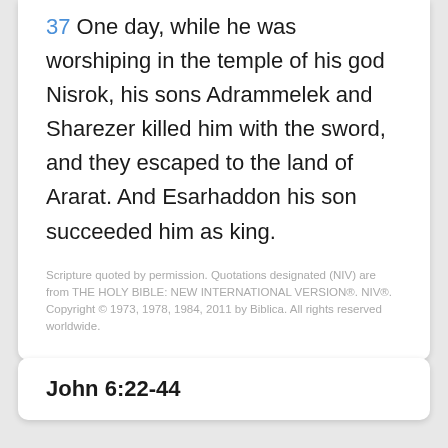37 One day, while he was worshiping in the temple of his god Nisrok, his sons Adrammelek and Sharezer killed him with the sword, and they escaped to the land of Ararat. And Esarhaddon his son succeeded him as king.
Scripture quoted by permission.  Quotations designated (NIV) are from THE HOLY BIBLE: NEW INTERNATIONAL VERSION®.  NIV®.  Copyright © 1973, 1978, 1984, 2011 by Biblica.  All rights reserved worldwide.
John 6:22-44